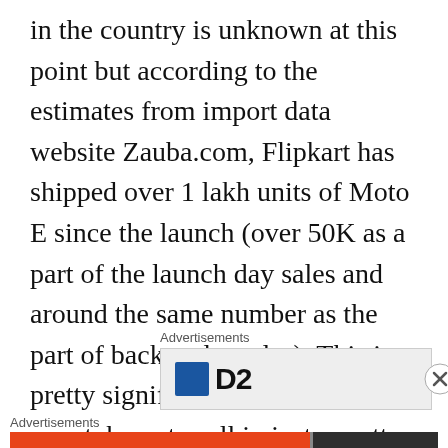in the country is unknown at this point but according to the estimates from import data website Zauba.com, Flipkart has shipped over 1 lakh units of Moto E since the launch (over 50K as a part of the launch day sales and around the same number as the part of back-order sales). This is a pretty significant number for any smartphone to sell in just a matter of one week in India.
Advertisements
[Figure (other): Advertisement banner with blue square icon and bold letters, partially visible]
Advertisements
[Figure (other): DuckDuckGo advertisement banner: orange section with text 'Search, browse, and email with more privacy. All in One Free App' and dark section with DuckDuckGo duck logo]